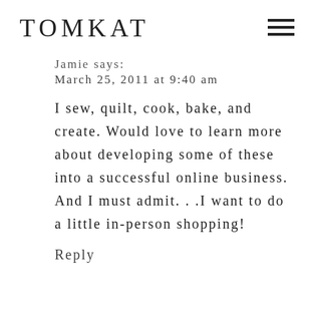TOMKAT
Jamie says:
March 25, 2011 at 9:40 am
I sew, quilt, cook, bake, and create. Would love to learn more about developing some of these into a successful online business. And I must admit. . .I want to do a little in-person shopping!
Reply